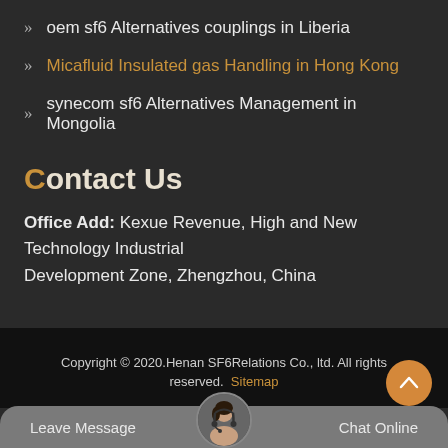oem sf6 Alternatives couplings in Liberia
Micafluid Insulated gas Handling in Hong Kong
synecom sf6 Alternatives Management in Mongolia
Contact Us
Office Add: Kexue Revenue, High and New Technology Industrial Development Zone, Zhengzhou, China
Copyright © 2020.Henan SF6Relations Co., ltd. All rights reserved. Sitemap
Leave Message
Chat Online